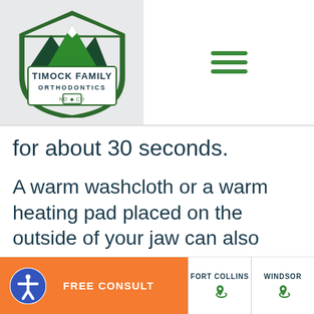[Figure (logo): Timock Family Orthodontics logo with mountain graphic, badge shape, 'ND CO' text]
[Figure (other): Hamburger menu icon (three horizontal green lines)]
for about 30 seconds.
A warm washcloth or a warm heating pad placed on the outside of your jaw can also offer you some relief, along with over-the-counter pain relievers (just to be sure to ask your orthodontist about these first!)
FREE CONSULT | FORT COLLINS | WINDSOR